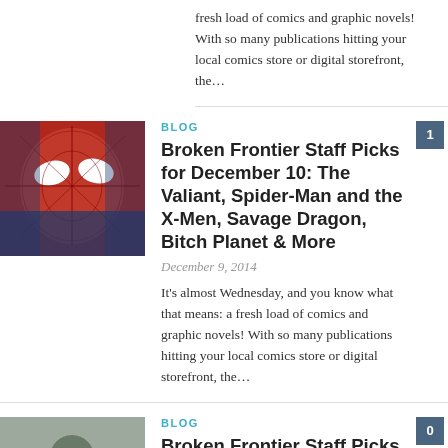fresh load of comics and graphic novels! With so many publications hitting your local comics store or digital storefront, the…
[Figure (illustration): Spider-Man comic art thumbnail - red and blue colored illustration of Spider-Man face]
BLOG
Broken Frontier Staff Picks for December 10: The Valiant, Spider-Man and the X-Men, Savage Dragon, Bitch Planet & More
December 9, 2014
It's almost Wednesday, and you know what that means: a fresh load of comics and graphic novels! With so many publications hitting your local comics store or digital storefront, the…
[Figure (illustration): Comic art thumbnail - grey/muted illustration of a character]
BLOG
Broken Frontier Staff Picks for October 15: Meteor Men, Doomboy, Johnny Nemo, The Collector & More
October 14, 2014
It's almost Wednesday, and you know what that means: a